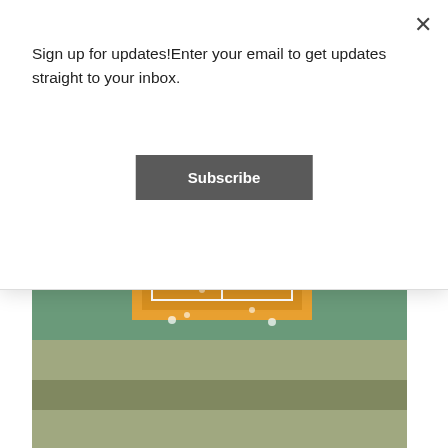Sign up for updates!Enter your email to get updates straight to your inbox.
Subscribe
[Figure (photo): Aerial view of an outdoor event or street festival with colorful elements, partially visible at top]
FAMILY ACTIVITIES FOR LABOR DAY WEEKEND IN METRO DETROIT
Labor Day weekend will be here before we know it. Start making plans before it's back to school.  Fall...
[Figure (photo): Aerial view of a downtown urban plaza with colorful basketball court and surrounding buildings and green trees]